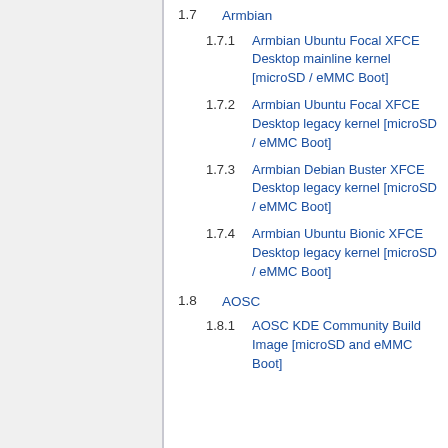1.7 Armbian
1.7.1 Armbian Ubuntu Focal XFCE Desktop mainline kernel [microSD / eMMC Boot]
1.7.2 Armbian Ubuntu Focal XFCE Desktop legacy kernel [microSD / eMMC Boot]
1.7.3 Armbian Debian Buster XFCE Desktop legacy kernel [microSD / eMMC Boot]
1.7.4 Armbian Ubuntu Bionic XFCE Desktop legacy kernel [microSD / eMMC Boot]
1.8 AOSC
1.8.1 AOSC KDE Community Build Image [microSD and eMMC Boot]